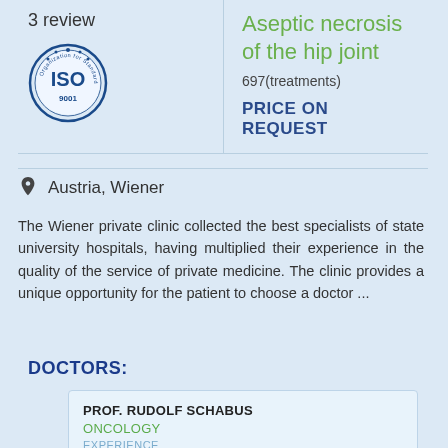3 review
[Figure (logo): ISO 9001 certification badge]
Aseptic necrosis of the hip joint
697(treatments)
PRICE ON REQUEST
Austria, Wiener
The Wiener private clinic collected the best specialists of state university hospitals, having multiplied their experience in the quality of the service of private medicine. The clinic provides a unique opportunity for the patient to choose a doctor ...
DOCTORS:
PROF. RUDOLF SCHABUS
ONCOLOGY
EXPERIENCE
more than 40 years